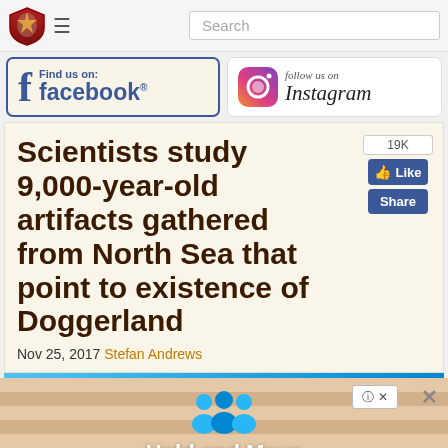Search
[Figure (logo): Facebook Find us on: facebook banner]
[Figure (logo): Instagram follow us on Instagram banner]
Scientists study 9,000-year-old artifacts gathered from North Sea that point to existence of Doggerland
Nov 25, 2017 Stefan Andrews
[Figure (screenshot): Hold and Move advertisement banner]